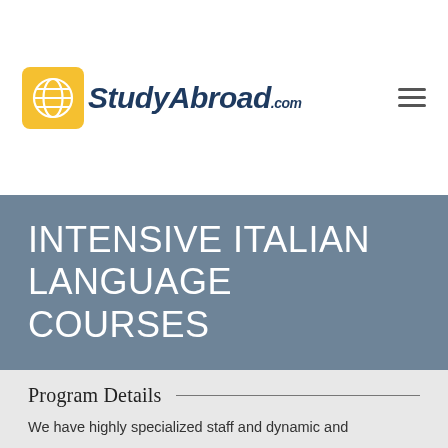[Figure (logo): StudyAbroad.com logo with yellow globe icon and dark blue italic text]
INTENSIVE ITALIAN LANGUAGE COURSES
Program Details
We have highly specialized staff and dynamic and